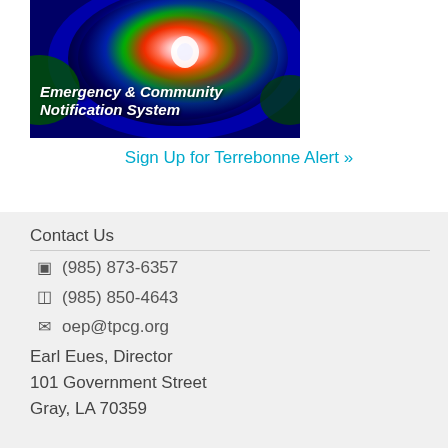[Figure (photo): Hurricane satellite image banner with text 'Emergency & Community Notification System']
Sign Up for Terrebonne Alert »
Contact Us
(985) 873-6357
(985) 850-4643
oep@tpcg.org
Earl Eues, Director
101 Government Street
Gray, LA 70359
Be Prepared
Chemical/Biological Emergencies
Disabled and Elderly